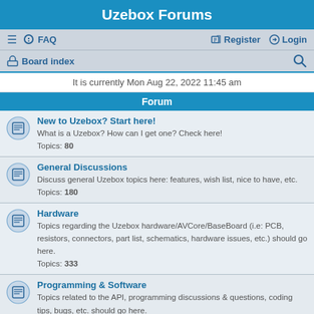Uzebox Forums
≡  FAQ    Register   Login
Board index
It is currently Mon Aug 22, 2022 11:45 am
Forum
New to Uzebox? Start here!
What is a Uzebox? How can I get one? Check here!
Topics: 80
General Discussions
Discuss general Uzebox topics here: features, wish list, nice to have, etc.
Topics: 180
Hardware
Topics regarding the Uzebox hardware/AVCore/BaseBoard (i.e: PCB, resistors, connectors, part list, schematics, hardware issues, etc.) should go here.
Topics: 333
Programming & Software
Topics related to the API, programming discussions & questions, coding tips, bugs, etc. should go here.
Topics: 466
Uzebox Emulator
The Uzebox now have a fully functional emulator! Download and discuss it here.
Topics: 76
Games & Demos
Use this forum to share and discuss Uzebox games and demos.